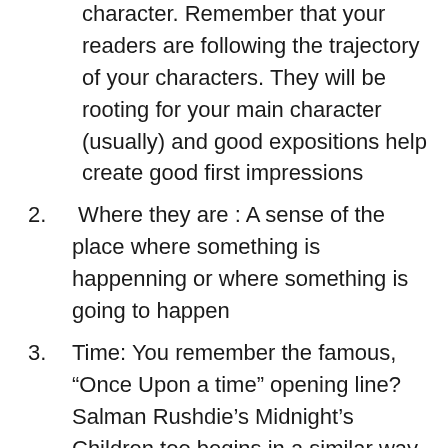character. Remember that your readers are following the trajectory of your characters. They will be rooting for your main character (usually) and good expositions help create good first impressions
2.  Where they are : A sense of the place where something is happenning or where something is going to happen
3. Time: You remember the famous, “Once Upon a time” opening line? Salman Rushdie’s Midnight’s Children too begins in a similar way. Consider this: